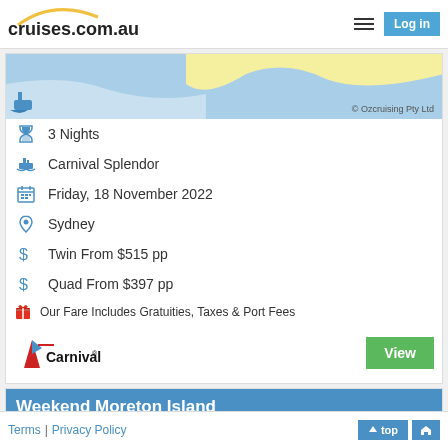cruises.com.au
[Figure (map): Map background showing Australian coastline in yellow and blue tones with copyright Ozcruising Pty Ltd]
3 Nights
Carnival Splendor
Friday, 18 November 2022
Sydney
Twin From $515 pp
Quad From $397 pp
Our Fare Includes Gratuities, Taxes & Port Fees
[Figure (logo): Carnival cruise line logo with red funnel and flag]
View
Weekend Moreton Island
[Figure (map): Map background for Weekend Moreton Island cruise]
Terms | Privacy Policy  top home